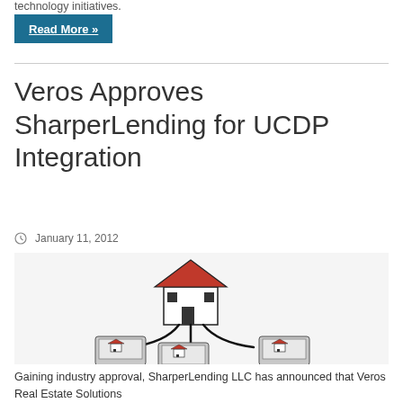technology initiatives.
Read More »
Veros Approves SharperLending for UCDP Integration
January 11, 2012
[Figure (illustration): A 3D illustration of a house connected by cables to three laptops, representing network/integration concept for real estate technology.]
Gaining industry approval, SharperLending LLC has announced that Veros Real Estate Solutions